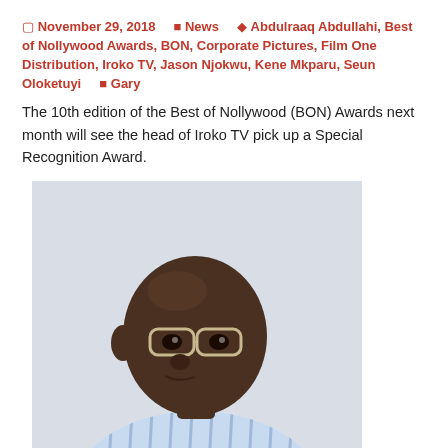November 29, 2018  News  Abdulraaq Abdullahi, Best of Nollywood Awards, BON, Corporate Pictures, Film One Distribution, Iroko TV, Jason Njokwu, Kene Mkparu, Seun Oloketuyi  Gary
The 10th edition of the Best of Nollywood (BON) Awards next month will see the head of Iroko TV pick up a Special Recognition Award.
[Figure (photo): Portrait photo of Jason Njokwu, a bald Black man wearing glasses and a striped blue/white shirt, facing slightly left]
Jason Njokwu
Jason Njokwu, co-founder and CEO of video-on-demand service Iroko TV, will be one of the recipients of the award for his